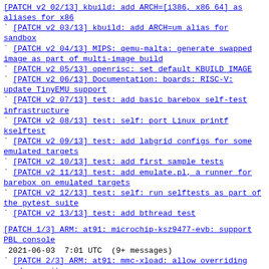[PATCH v2 02/13] kbuild: add ARCH=[i386, x86_64] as aliases for x86
` [PATCH v2 03/13] kbuild: add ARCH=um alias for sandbox
` [PATCH v2 04/13] MIPS: qemu-malta: generate swapped image as part of multi-image build
` [PATCH v2 05/13] openrisc: set default KBUILD IMAGE
` [PATCH v2 06/13] Documentation: boards: RISC-V: update TinyEMU support
` [PATCH v2 07/13] test: add basic barebox self-test infrastructure
` [PATCH v2 08/13] test: self: port Linux printf kselftest
` [PATCH v2 09/13] test: add labgrid configs for some emulated targets
` [PATCH v2 10/13] test: add first sample tests
` [PATCH v2 11/13] test: add emulate.pl, a runner for barebox on emulated targets
` [PATCH v2 12/13] test: self: run selftests as part of the pytest suite
` [PATCH v2 13/13] test: add bthread test
[PATCH 1/3] ARM: at91: microchip-ksz9477-evb: support PBL console
2021-06-03  7:01 UTC  (9+ messages)
` [PATCH 2/3] ARM: at91: mmc-xload: allow overriding card capacity
` [PATCH 3/3] ARM: at91: xload-mmc: add prominent note about PBL MMC limitation
[PATCH v2 00/24] clk updates